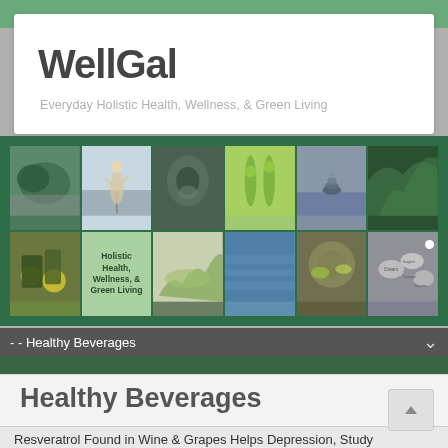WellGal
Everyday Holistic Health, Wellness, & Green Living
[Figure (photo): Collage of 12 wellness and holistic health images including yoga, green vegetables, nature, balanced stones, herbs, salad, and inspirational stones. Center cell reads 'Holistic Health, Wellness, & Green Living'.]
- - Healthy Beverages
Healthy Beverages
Resveratrol Found in Wine & Grapes Helps Depression, Study